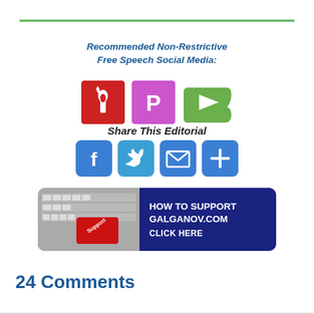[Figure (other): Green horizontal rule divider line near top of page]
Recommended Non-Restrictive Free Speech Social Media:
[Figure (logo): Three social media logos: Freedom Project (red square with torch/feather icon), Parler (purple/pink square with P icon), Rumble (green play button icon)]
Share This Editorial
[Figure (infographic): Four social sharing buttons: Facebook (f), Twitter (bird), Email (envelope), More (+) — all blue rounded squares]
[Figure (infographic): Banner: keyboard with red Support key on left, dark blue background on right with text HOW TO SUPPORT GALGANOV.COM CLICK HERE]
24 Comments